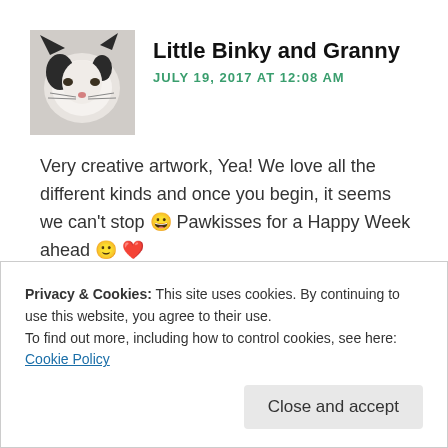[Figure (photo): Avatar photo of a black and white cat (Little Binky)]
Little Binky and Granny
JULY 19, 2017 AT 12:08 AM
Very creative artwork, Yea! We love all the different kinds and once you begin, it seems we can't stop 😀 Pawkisses for a Happy Week ahead 🙂 ❤
★ Like
Privacy & Cookies: This site uses cookies. By continuing to use this website, you agree to their use.
To find out more, including how to control cookies, see here: Cookie Policy
Close and accept